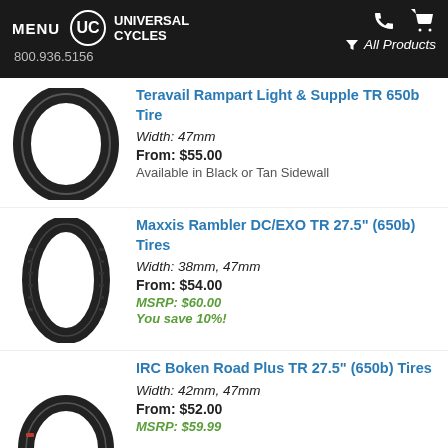MENU | UC Universal Cycles | 800.936.5156 | All Products
[Figure (photo): Black bicycle tire - Teravail Rampart]
Teravail Rampart Light & Supple TR 650b Tire | Width: 47mm | From: $55.00 | Available in Black or Tan Sidewall
[Figure (photo): Black knobby bicycle tire - Maxxis Rambler]
Maxxis Rambler DC/EXO TR 27.5" (650b) Tires | Width: 38mm, 47mm | From: $54.00 | MSRP: $60.00 | You save 10%!
[Figure (photo): Black bicycle tire - IRC Boken Road Plus]
IRC Boken Road Plus TR 27.5" (650b) Tires | Width: 42mm, 47mm | From: $52.00 | MSRP: $59.99